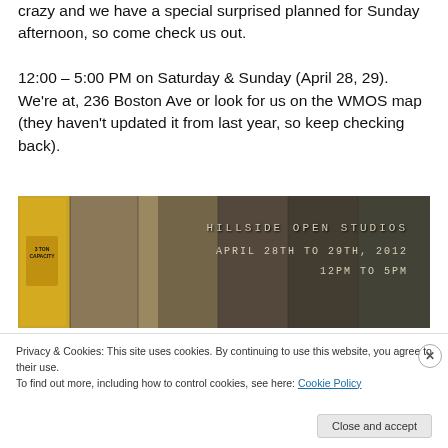crazy and we have a special surprised planned for Sunday afternoon, so come check us out.
12:00 – 5:00 PM on Saturday & Sunday (April 28, 29).  We're at, 236 Boston Ave or look for us on the WMOS map (they haven't updated it from last year, so keep checking back).
[Figure (photo): Collage of workshop/studio photos with text overlay reading 'Hillside Open Studios April 28th to 29th, 2012 12pm to 5pm']
Privacy & Cookies: This site uses cookies. By continuing to use this website, you agree to their use.
To find out more, including how to control cookies, see here: Cookie Policy